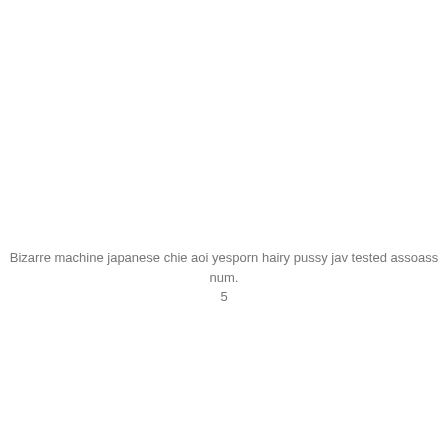Bizarre machine japanese chie aoi yesporn hairy pussy jav tested assoass num.
5